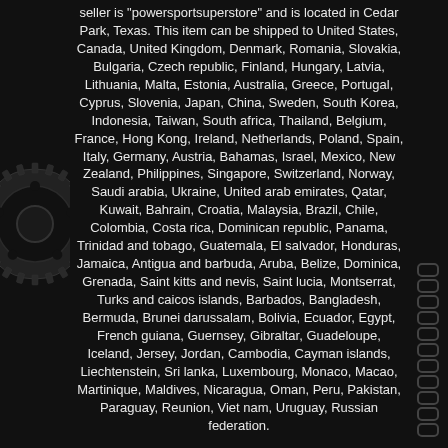seller is "powersportsuperstore" and is located in Cedar Park, Texas. This item can be shipped to United States, Canada, United Kingdom, Denmark, Romania, Slovakia, Bulgaria, Czech republic, Finland, Hungary, Latvia, Lithuania, Malta, Estonia, Australia, Greece, Portugal, Cyprus, Slovenia, Japan, China, Sweden, South Korea, Indonesia, Taiwan, South africa, Thailand, Belgium, France, Hong Kong, Ireland, Netherlands, Poland, Spain, Italy, Germany, Austria, Bahamas, Israel, Mexico, New Zealand, Philippines, Singapore, Switzerland, Norway, Saudi arabia, Ukraine, United arab emirates, Qatar, Kuwait, Bahrain, Croatia, Malaysia, Brazil, Chile, Colombia, Costa rica, Dominican republic, Panama, Trinidad and tobago, Guatemala, El salvador, Honduras, Jamaica, Antigua and barbuda, Aruba, Belize, Dominica, Grenada, Saint kitts and nevis, Saint lucia, Montserrat, Turks and caicos islands, Barbados, Bangladesh, Bermuda, Brunei darussalam, Bolivia, Ecuador, Egypt, French guiana, Guernsey, Gibraltar, Guadeloupe, Iceland, Jersey, Jordan, Cambodia, Cayman islands, Liechtenstein, Sri lanka, Luxembourg, Monaco, Macao, Martinique, Maldives, Nicaragua, Oman, Peru, Pakistan, Paraguay, Reunion, Viet nam, Uruguay, Russian federation.
Warranty: Manufacturer's Limited Warranty
Country/Region of Manufacture: Japan
California Prop 65 Warning: Cancer and Reproductive Harm www.P65Warnings.ca.gov
VehicleType: Street
Authorized Dealer: Yes
Photo Disclaimer: For reference only, see item details